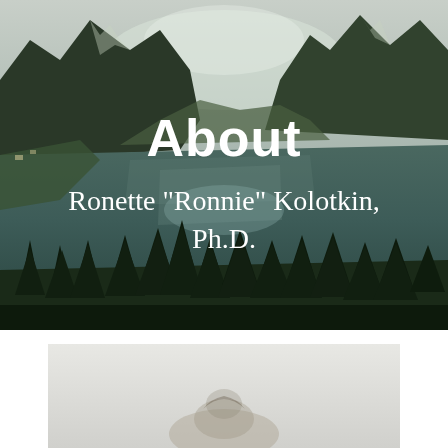[Figure (photo): Scenic fjord landscape with mountains, a reflective lake in the center, green forested hillsides, and conifer trees in the foreground under a cloudy sky.]
About
Ronette "Ronnie" Kolotkin, Ph.D.
[Figure (photo): Partial view of a second photo showing a light background with what appears to be a person or subject at the bottom edge.]